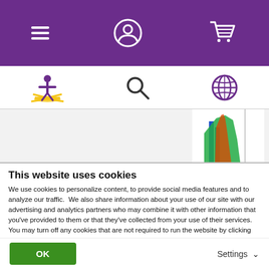[Figure (screenshot): Purple navigation bar with hamburger menu icon, user/account icon, and shopping cart icon in white]
[Figure (screenshot): White navigation bar with a yellow/purple burst figure logo, a search magnifying glass icon, and a globe/language icon]
[Figure (screenshot): Partial chart strip showing a colorful bar/area chart with rotated y-axis label 'Relative Cell Nu...' visible]
This website uses cookies
We use cookies to personalize content, to provide social media features and to analyze our traffic.  We also share information about your use of our site with our advertising and analytics partners who may combine it with other information that you've provided to them or that they've collected from your use of their services. You may turn off any cookies that are not required to run the website by clicking “Show Details” and unselecting cookies.
For more information on how we handle your personal data, view our Privacy Policy.
OK
Settings